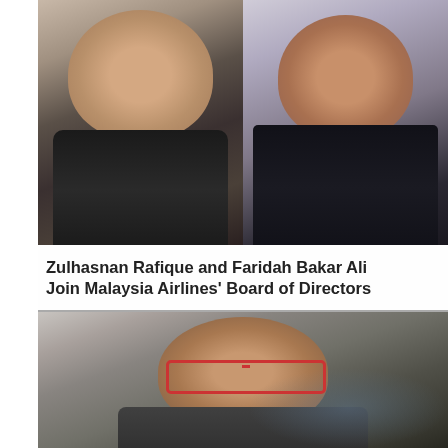[Figure (photo): Two professional portrait photos side by side: left shows a man in a dark suit with red tie, right shows a woman in a dark outfit with pearl necklace]
Zulhasnan Rafique and Faridah Bakar Ali Join Malaysia Airlines' Board of Directors
[Figure (photo): Portrait photo of a man with beard and distinctive tortoise-shell glasses with red accents, smiling, wearing a grey blazer]